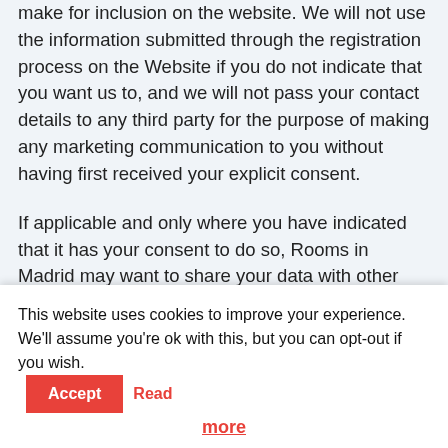make for inclusion on the website. We will not use the information submitted through the registration process on the Website if you do not indicate that you want us to, and we will not pass your contact details to any third party for the purpose of making any marketing communication to you without having first received your explicit consent.
If applicable and only where you have indicated that it has your consent to do so, Rooms in Madrid may want to share your data with other reputable companies both within and outside the European Union and to notify you about Design Council events and exhibitions, conferences and other events or related activities that you may find useful.
Where requested please therefore check the relevant box marked:
"I would like to receive further information from
This website uses cookies to improve your experience. We'll assume you're ok with this, but you can opt-out if you wish.
Read more